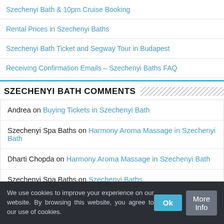Szechenyi Bath & 10pm Cruise Booking
Rental Prices in Szechenyi Baths
Szechenyi Bath Ticket and Segway Tour in Budapest
Receiving Confirmation Emails – Szechenyi Baths FAQ
SZECHENYI BATH COMMENTS
Andrea on Buying Tickets in Szechenyi Bath
Szechenyi Spa Baths on Harmony Aroma Massage in Szechenyi Bath
Dharti Chopda on Harmony Aroma Massage in Szechenyi Bath
Szechenyi Spa Baths on Szechenyi Baths
Szechenyi Spa Baths on Contact Szechenyi Baths
We use cookies to improve your experience on our website. By browsing this website, you agree to our use of cookies.